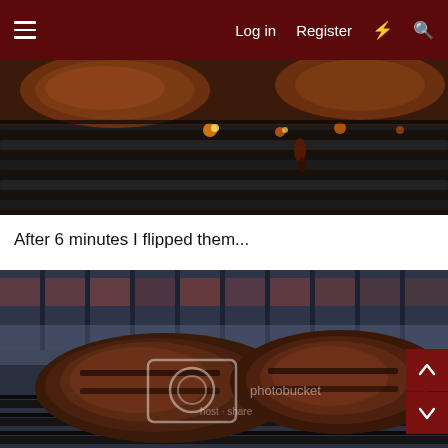Log in  Register
[Figure (photo): Two steaks on a hot grill with flames and grill grates visible, dark and moody lighting]
After 6 minutes I flipped them...
[Figure (photo): Two steaks flipped on a grill, smoky atmosphere, Photobucket watermark visible, dark background with grill grates]